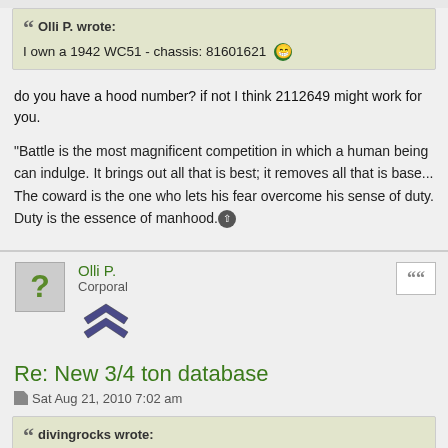Olli P. wrote: I own a 1942 WC51 - chassis: 81601621
do you have a hood number? if not I think 2112649 might work for you.
"Battle is the most magnificent competition in which a human being can indulge. It brings out all that is best; it removes all that is base... The coward is the one who lets his fear overcome his sense of duty. Duty is the essence of manhood."
Olli P. - Corporal
Re: New 3/4 ton database
Sat Aug 21, 2010 7:02 am
divingrocks wrote: Olli P. wrote: I own a 1942 WC51 - chassis: 81601621
do you have a hood number? if not I think 2112649 might work for you.
Sorry - I do only have the chassis-number. And now I know that my hood-